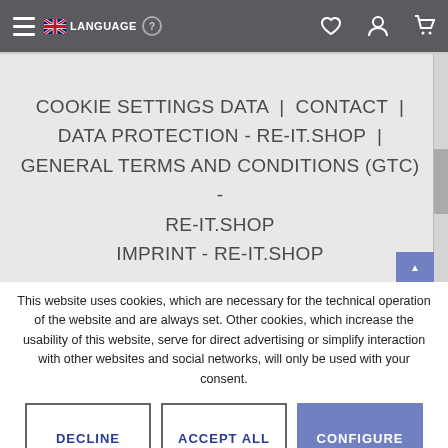LANGUAGE (hamburger menu, flag, help icon, heart, user, cart icons)
COOKIE SETTINGS DATA | CONTACT | DATA PROTECTION - RE-IT.SHOP | GENERAL TERMS AND CONDITIONS (GTC) - RE-IT.SHOP IMPRINT - RE-IT.SHOP
This website uses cookies, which are necessary for the technical operation of the website and are always set. Other cookies, which increase the usability of this website, serve for direct advertising or simplify interaction with other websites and social networks, will only be used with your consent.
DECLINE | ACCEPT ALL | CONFIGURE